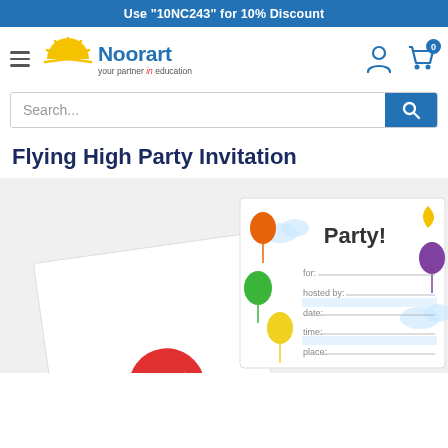Use "10NC243" for 10% Discount
[Figure (logo): Noorart logo with sun graphic and tagline 'your partner in education']
Search...
Flying High Party Invitation
[Figure (photo): Product photo showing Flying High Party Invitation cards with balloons, 'Party!' text, and fill-in fields for for, hosted by, date, time, place]